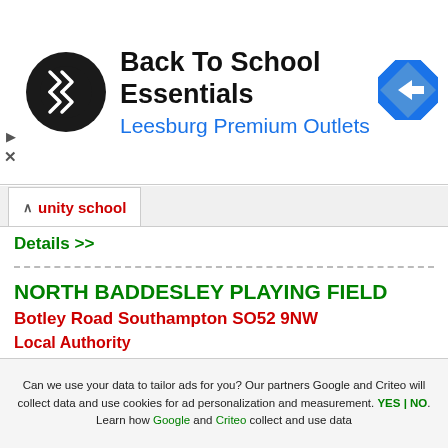[Figure (logo): Advertisement banner: circular black logo with double arrow symbol, text 'Back To School Essentials' and 'Leesburg Premium Outlets', blue diamond navigation icon on right]
unity school
Details >>
NORTH BADDESLEY PLAYING FIELD
Botley Road Southampton SO52 9NW
Local Authority
Grass Pitches | Junior Football - Grass Pitches Southampton
Grass Pitches | Full sized Football - Grass Pitches Southampton
Tennis Courts | Tennis Courts - Tennis Courts Southampton
Details >>
Can we use your data to tailor ads for you? Our partners Google and Criteo will collect data and use cookies for ad personalization and measurement. YES | NO. Learn how Google and Criteo collect and use data